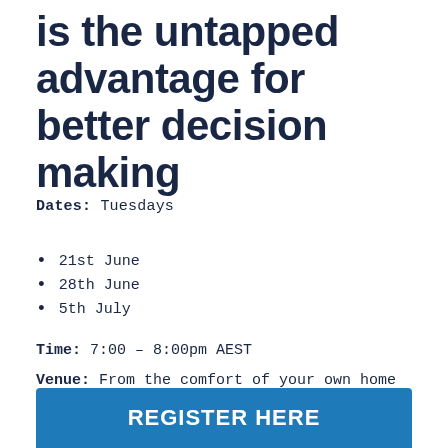is the untapped advantage for better decision making
Dates: Tuesdays
21st June
28th June
5th July
Time: 7:00 – 8:00pm AEST
Venue: From the comfort of your own home
Cost: $39.95 (GST Included)
REGISTER HERE